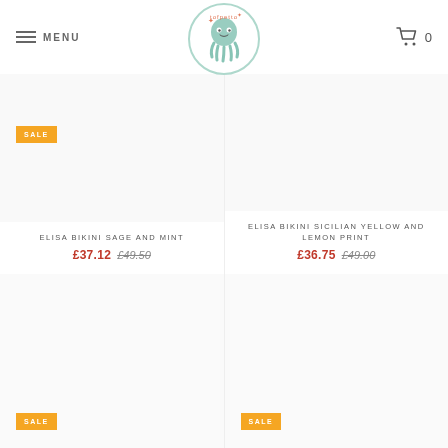Menu | Tofpetto logo | Cart 0
ELISA BIKINI SAGE AND MINT £37.12 £49.50
ELISA BIKINI SICILIAN YELLOW AND LEMON PRINT £36.75 £49.00
[Figure (logo): Tofpetto octopus logo in circular border]
SALE badge bottom-left
SALE badge bottom-right